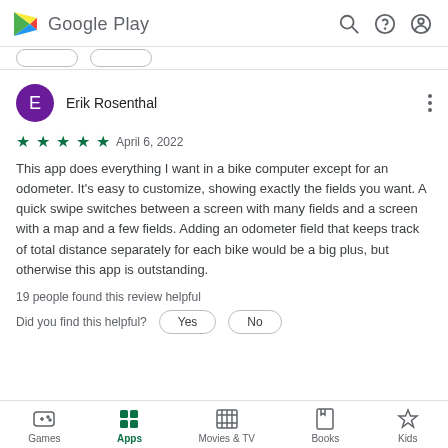Google Play
Erik Rosenthal
★★★★★ April 6, 2022
This app does everything I want in a bike computer except for an odometer. It's easy to customize, showing exactly the fields you want. A quick swipe switches between a screen with many fields and a screen with a map and a few fields. Adding an odometer field that keeps track of total distance separately for each bike would be a big plus, but otherwise this app is outstanding.
19 people found this review helpful
Did you find this helpful?
Games  Apps  Movies & TV  Books  Kids